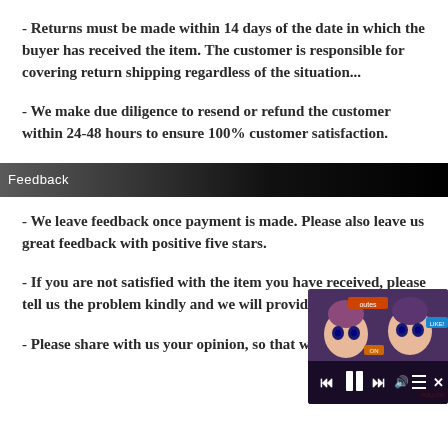- Returns must be made within 14 days of the date in which the buyer has received the item. The customer is responsible for covering return shipping regardless of the situation...
- We make due diligence to resend or refund the customer within 24-48 hours to ensure 100% customer satisfaction.
Feedback
- We leave feedback once payment is made. Please also leave us great feedback with positive five stars.
- If you are not satisfied with the item you have received, please tell us the problem kindly and we will provide a s
- Please share with us your opinion, so that we can
[Figure (screenshot): Media player overlay with anime cartoon characters in the background, showing playback controls including rewind, pause, fast-forward, volume, playlist, and close buttons]